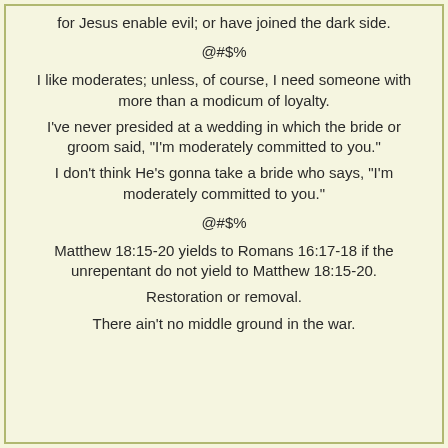for Jesus enable evil; or have joined the dark side.
@#$%
I like moderates; unless, of course, I need someone with more than a modicum of loyalty.
I've never presided at a wedding in which the bride or groom said, "I'm moderately committed to you."
I don't think He's gonna take a bride who says, "I'm moderately committed to you."
@#$%
Matthew 18:15-20 yields to Romans 16:17-18 if the unrepentant do not yield to Matthew 18:15-20.
Restoration or removal.
There ain't no middle ground in the war.